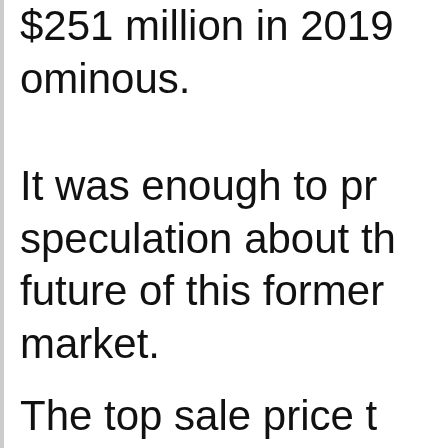$251 million in 2019 ominous.
It was enough to pro speculation about th future of this former market.
The top sale price t